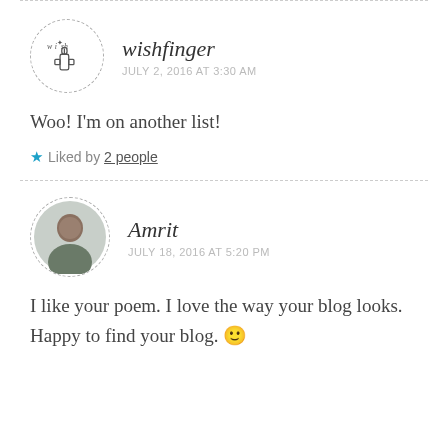wishfinger
JULY 2, 2016 AT 3:30 AM
Woo! I'm on another list!
★ Liked by 2 people
Amrit
JULY 18, 2016 AT 5:20 PM
I like your poem. I love the way your blog looks.
Happy to find your blog. 🙂